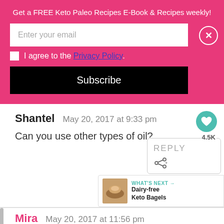Get a FREE Keto Paleo Recipes E-Book & Recipes weekly!
Enter your email
I agree to the Privacy Policy.
Subscribe
Shantel   May 20, 2017 at 9:33 pm
Can you use other types of oil?
REPLY
4.5K
WHAT'S NEXT → Dairy-free Keto Bagels
Mira   May 20, 2017 at 11:56 pm